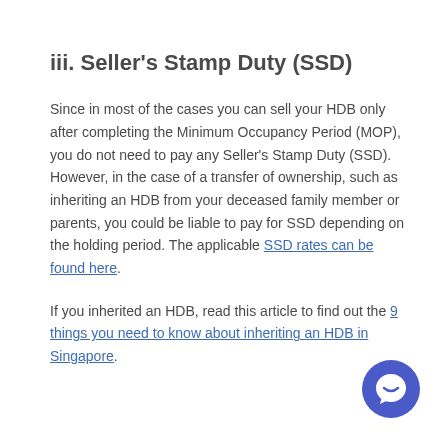iii. Seller's Stamp Duty (SSD)
Since in most of the cases you can sell your HDB only after completing the Minimum Occupancy Period (MOP), you do not need to pay any Seller's Stamp Duty (SSD). However, in the case of a transfer of ownership, such as inheriting an HDB from your deceased family member or parents, you could be liable to pay for SSD depending on the holding period. The applicable SSD rates can be found here.
If you inherited an HDB, read this article to find out the 9 things you need to know about inheriting an HDB in Singapore.
[Figure (other): Blue circular chat/support button with speech bubble icon in bottom right corner]